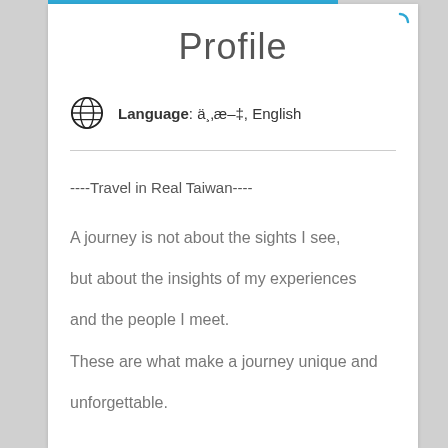Profile
Language: ä¸æ–‡, English
----Travel in Real Taiwan----
A journey is not about the sights I see,

but about the insights of my experiences

and the people I meet.

These are what make a journey unique and

unforgettable.